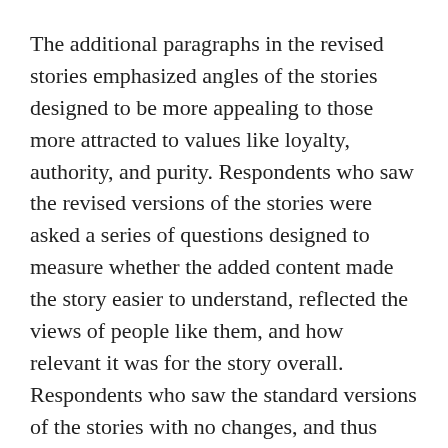The additional paragraphs in the revised stories emphasized angles of the stories designed to be more appealing to those more attracted to values like loyalty, authority, and purity. Respondents who saw the revised versions of the stories were asked a series of questions designed to measure whether the added content made the story easier to understand, reflected the views of people like them, and how relevant it was for the story overall. Respondents who saw the standard versions of the stories with no changes, and thus without the additional paragraphs, were later asked to read the additional paragraphs separately and then answer whether they would have made the story more trustworthy, less trustworthy, or had no effect.
The findings suggest that including those paragraphs